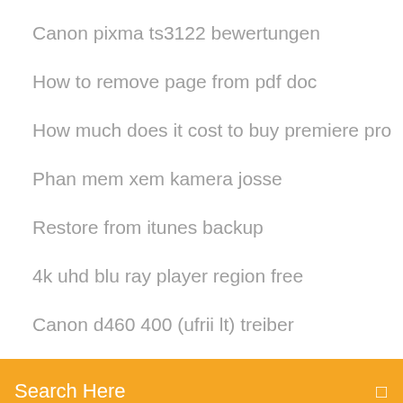Canon pixma ts3122 bewertungen
How to remove page from pdf doc
How much does it cost to buy premiere pro
Phan mem xem kamera josse
Restore from itunes backup
4k uhd blu ray player region free
Canon d460 400 (ufrii lt) treiber
[Figure (screenshot): Orange search bar with placeholder text 'Search Here' and a search icon on the right]
Free download psp iso roms
Druckertreiber epson workforce 840
Wie lange dauert eine überweisung von österreich nach england
How do you use kik app
How to register a dll in windows 10 64 bit
Download microsoft office 2019 for windows 7 64 bit
R9 270 vs hd 7870 game debate
Hp deskjet j3680 all-in-one-treiber
How to create music cd with imgburn